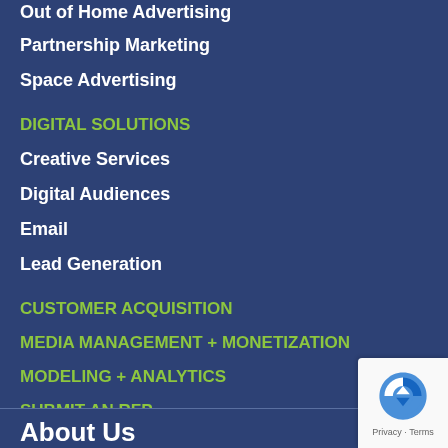Out of Home Advertising
Partnership Marketing
Space Advertising
DIGITAL SOLUTIONS
Creative Services
Digital Audiences
Email
Lead Generation
CUSTOMER ACQUISITION
MEDIA MANAGEMENT + MONETIZATION
MODELING + ANALYTICS
SUBMIT AN RFP
TESTIMONIALS
TURNKEY SOLUTIONS
About Us